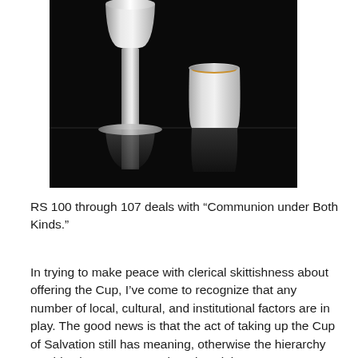[Figure (photo): Two silver/metallic chalice-like cups on a black background. One is taller with a narrow stem and wider top, the other is shorter and cylindrical with a gold interior visible at the top. Both have reflections on the dark surface.]
RS 100 through 107 deals with “Communion under Both Kinds.”
In trying to make peace with clerical skittishness about offering the Cup, I’ve come to recognize that any number of local, cultural, and institutional factors are in play. The good news is that the act of taking up the Cup of Salvation still has meaning, otherwise the hierarchy wouldn’t be as nervous about it as it is.